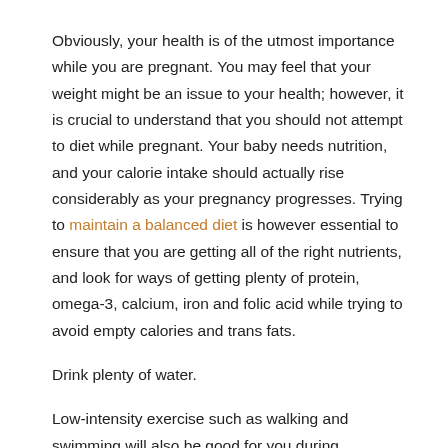Obviously, your health is of the utmost importance while you are pregnant. You may feel that your weight might be an issue to your health; however, it is crucial to understand that you should not attempt to diet while pregnant. Your baby needs nutrition, and your calorie intake should actually rise considerably as your pregnancy progresses. Trying to maintain a balanced diet is however essential to ensure that you are getting all of the right nutrients, and look for ways of getting plenty of protein, omega-3, calcium, iron and folic acid while trying to avoid empty calories and trans fats.
Drink plenty of water.
Low-intensity exercise such as walking and swimming will also be good for you during pregnancy,
Positive People